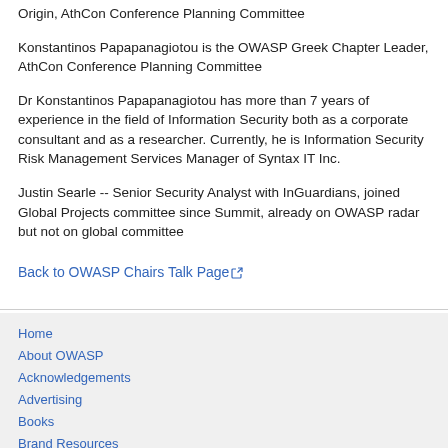Origin, AthCon Conference Planning Committee
Konstantinos Papapanagiotou is the OWASP Greek Chapter Leader, AthCon Conference Planning Committee
Dr Konstantinos Papapanagiotou has more than 7 years of experience in the field of Information Security both as a corporate consultant and as a researcher. Currently, he is Information Security Risk Management Services Manager of Syntax IT Inc.
Justin Searle -- Senior Security Analyst with InGuardians, joined Global Projects committee since Summit, already on OWASP radar but not on global committee
Back to OWASP Chairs Talk Page
Home
About OWASP
Acknowledgements
Advertising
Books
Brand Resources